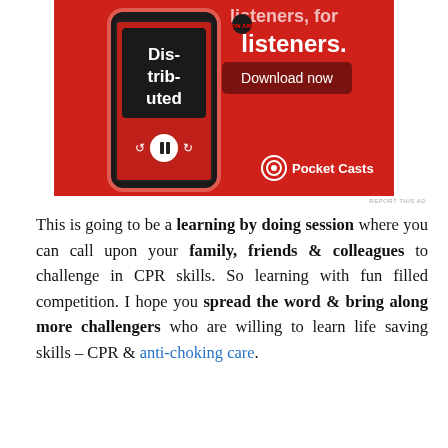[Figure (photo): Pocket Casts advertisement showing a smartphone displaying the 'Distributed' podcast app on a red background with text 'listeners. For listeners.' and 'Download now' button, with Pocket Casts logo at bottom.]
REPORT THIS AD
This is going to be a learning by doing session where you can call upon your family, friends & colleagues to challenge in CPR skills. So learning with fun filled competition. I hope you spread the word & bring along more challengers who are willing to learn life saving skills – CPR & anti-choking care.